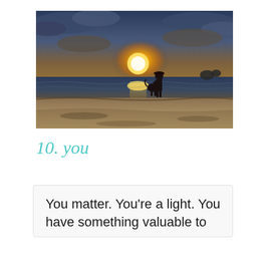[Figure (photo): A person standing on a beach at sunset with a dog sitting beside them. The sun is setting over the ocean horizon, with golden light reflecting on the water. Dramatic cloudy sky with warm golden and orange tones.]
10. you
You matter. You're a light. You have something valuable to